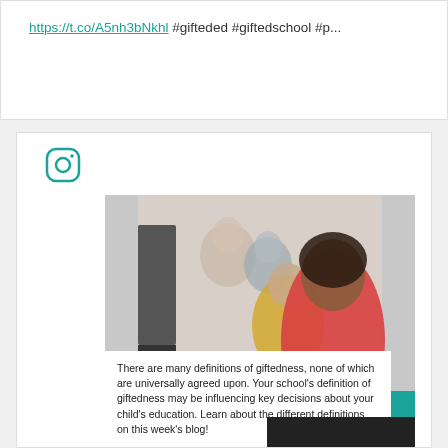https://t.co/A5nh3bNkhl #gifteded #giftedschool #p...
[Figure (photo): Instagram post featuring a photo of students sitting at computers in a classroom, smiling. The foreground student is a Black girl in a red/pink top. Behind her are other students including one in a yellow top and one in gray. A teal banner reads 'WHAT IS GIFTEDNESS?' and a white caption box below says: 'There are many definitions of giftedness, none of which are universally agreed upon. Your school's definition of giftedness may be influencing key decisions about your child's education. Learn about the different definitions on this week's blog!']